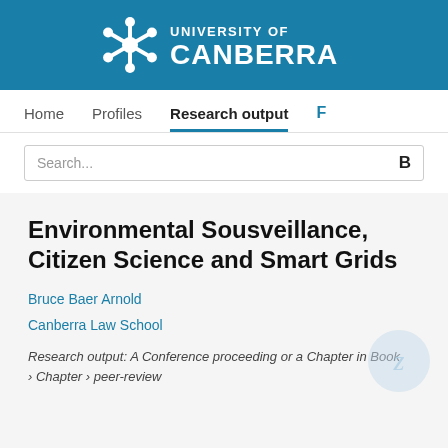[Figure (logo): University of Canberra logo with snowflake/gear icon and white text on blue background]
Home   Profiles   Research output   F
Search...
Environmental Sousveillance, Citizen Science and Smart Grids
Bruce Baer Arnold
Canberra Law School
Research output: A Conference proceeding or a Chapter in Book › Chapter › peer-review